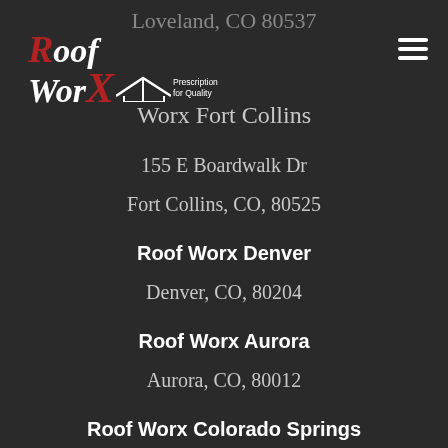Loveland, CO 80537
[Figure (logo): Roof Worx logo with red R, white Oof, Worx text with red X, roof house icon, and 'Prescription for Quality' tagline]
Worx Fort Collins
155 E Boardwalk Dr
Fort Collins, CO, 80525
Roof Worx Denver
Denver, CO, 80204
Roof Worx Aurora
Aurora, CO, 80012
Roof Worx Colorado Springs